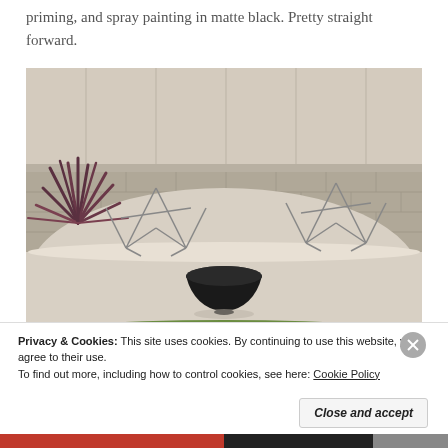priming, and spray painting in matte black. Pretty straight forward.
[Figure (photo): Outdoor garden area with white gravel, green grass border, a dark matte black bowl/fire pit in the center, two wire butterfly chair frames on either side, and a spiky plant on the left, against a light gray wall.]
Privacy & Cookies: This site uses cookies. By continuing to use this website, you agree to their use.
To find out more, including how to control cookies, see here: Cookie Policy
Close and accept